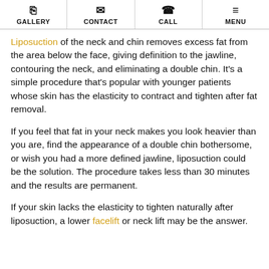GALLERY | CONTACT | CALL | MENU
Liposuction of the neck and chin removes excess fat from the area below the face, giving definition to the jawline, contouring the neck, and eliminating a double chin. It's a simple procedure that's popular with younger patients whose skin has the elasticity to contract and tighten after fat removal.
If you feel that fat in your neck makes you look heavier than you are, find the appearance of a double chin bothersome, or wish you had a more defined jawline, liposuction could be the solution. The procedure takes less than 30 minutes and the results are permanent.
If your skin lacks the elasticity to tighten naturally after liposuction, a lower facelift or neck lift may be the answer.